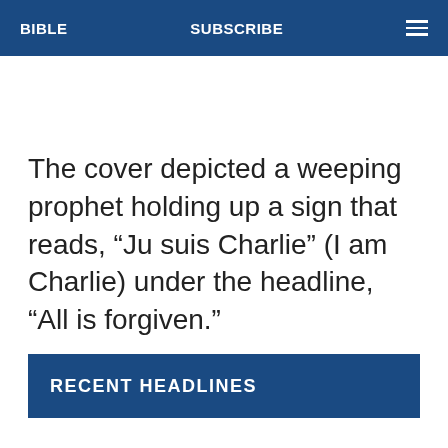BIBLE   SUBSCRIBE
The cover depicted a weeping prophet holding up a sign that reads, “Ju suis Charlie” (I am Charlie) under the headline, “All is forgiven.”
RECENT HEADLINES